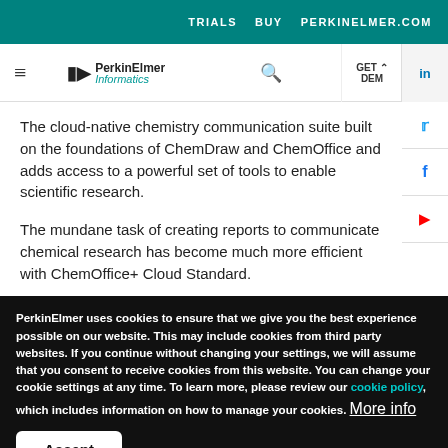TRIALS   BUY   PERKINELMER.COM
[Figure (logo): PerkinElmer Informatics logo with hamburger menu, search icon, and GET DEMO button]
The cloud-native chemistry communication suite built on the foundations of ChemDraw and ChemOffice and adds access to a powerful set of tools to enable scientific research.
The mundane task of creating reports to communicate chemical research has become much more efficient with ChemOffice+ Cloud Standard.
PerkinElmer uses cookies to ensure that we give you the best experience possible on our website. This may include cookies from third party websites. If you continue without changing your settings, we will assume that you consent to receive cookies from this website. You can change your cookie settings at any time. To learn more, please review our cookie policy, which includes information on how to manage your cookies. More info
Accept